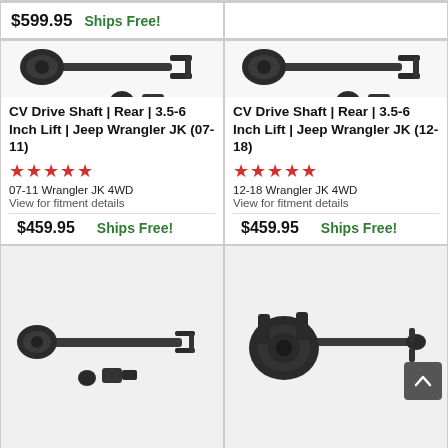$599.95   Ships Free!
[Figure (photo): CV Drive Shaft product photo with components on white background - left column]
CV Drive Shaft | Rear | 3.5-6 Inch Lift | Jeep Wrangler JK (07-11)
★★★★★
07-11 Wrangler JK 4WD
View for fitment details
$459.95   Ships Free!
[Figure (photo): CV Drive Shaft product photo with components on white background - right column]
CV Drive Shaft | Rear | 3.5-6 Inch Lift | Jeep Wrangler JK (12-18)
★★★★★
12-18 Wrangler JK 4WD
View for fitment details
$459.95   Ships Free!
[Figure (photo): CV Drive Shaft partial photo - bottom left, cut off]
[Figure (photo): CV Drive Shaft partial photo - bottom right, cut off]